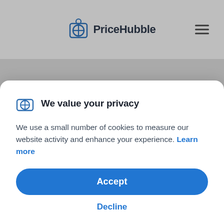PriceHubble
Property Tracker
[Figure (screenshot): Partial screenshot of PriceHubble Property Tracker page with teal thumbnail cards and a white content card]
We value your privacy
We use a small number of cookies to measure our website activity and enhance your experience. Learn more
Accept
Decline